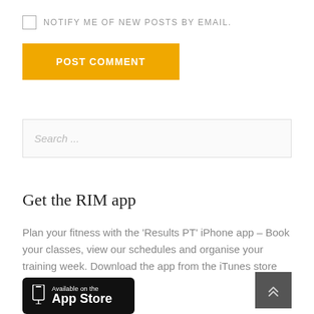NOTIFY ME OF NEW POSTS BY EMAIL.
POST COMMENT
Search ...
Get the RIM app
Plan your fitness with the 'Results PT' iPhone app – Book your classes, view our schedules and organise your training week. Download the app from the iTunes store here.
[Figure (logo): Available on the App Store badge - black rounded rectangle with phone icon and text 'Available on the App Store']
[Figure (other): Scroll to top button - dark grey square with double chevron up arrow]